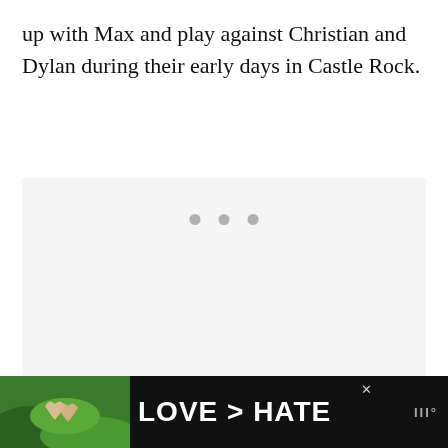up with Max and play against Christian and Dylan during their early days in Castle Rock.
[Figure (screenshot): A loading placeholder box with a light grey background and three grey dots centered near the top, indicating content is loading.]
[Figure (infographic): Side action buttons: a blue circular heart/like button, a count of 6, and a white circular share button.]
[Figure (photo): Advertisement banner with dark background showing hands forming a heart shape and text 'LOVE > HATE' in white bold letters, with a close X button and a logo on the right.]